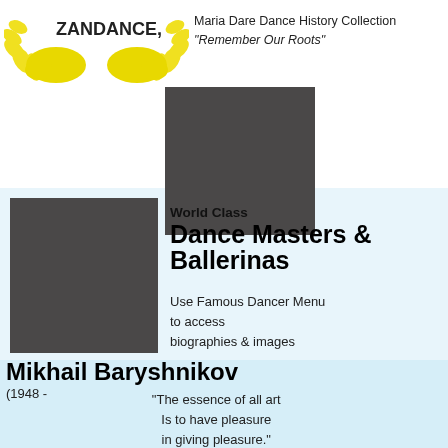[Figure (logo): ZANDANCE logo with yellow wing-like feet design and text]
Maria Dare Dance History Collection
"Remember Our Roots"
[Figure (photo): Gray placeholder image for dancer photo (top center)]
[Figure (photo): Gray placeholder image for dancer photo (mid left)]
World Class
Dance Masters & Ballerinas
Use Famous Dancer Menu
to access
biographies & images
Mikhail Baryshnikov
(1948 -
“The essence of all art
Is to have pleasure
in giving pleasure."
___Mikhail Baryshnikov